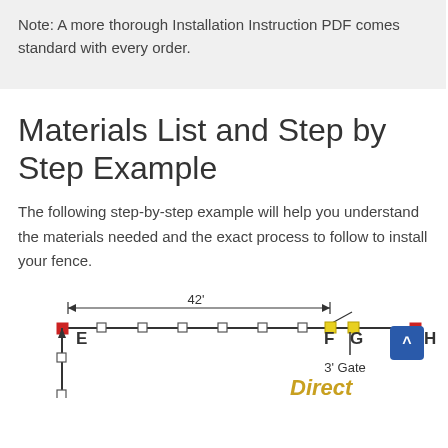Note: A more thorough Installation Instruction PDF comes standard with every order.
Materials List and Step by Step Example
The following step-by-step example will help you understand the materials needed and the exact process to follow to install your fence.
[Figure (engineering-diagram): Fence layout diagram showing a horizontal fence line with posts. A dimension line shows 42' span. Posts labeled E (corner, red square), F (yellow square, gate post), G (yellow square, gate post), H (corner, red square). A 3' Gate is marked between F and G. A scroll-up button is shown in the upper right area.]